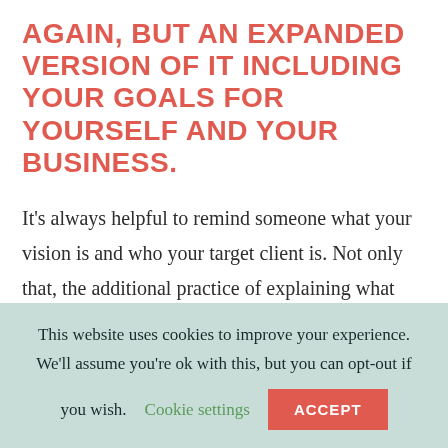AGAIN, BUT AN EXPANDED VERSION OF IT INCLUDING YOUR GOALS FOR YOURSELF AND YOUR BUSINESS.
It's always helpful to remind someone what your vision is and who your target client is. Not only that, the additional practice of explaining what your business does is always a good thing. You may receive helpful
This website uses cookies to improve your experience. We'll assume you're ok with this, but you can opt-out if you wish. Cookie settings ACCEPT